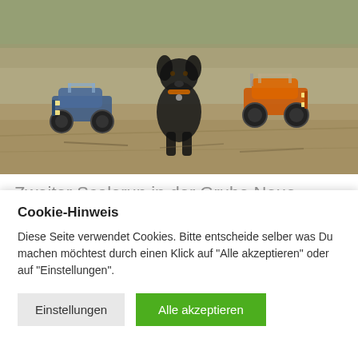[Figure (photo): Outdoor photo showing a black dog sitting between two RC off-road trucks (one blue on the left, one orange on the right) on a dirt/gravel surface with vegetation in the background.]
Zweiter Scalerun in der Grube Neue Hoffnung (Tamiya Bruiser & Traxxas
Cookie-Hinweis
Diese Seite verwendet Cookies. Bitte entscheide selber was Du machen möchtest durch einen Klick auf "Alle akzeptieren" oder auf "Einstellungen".